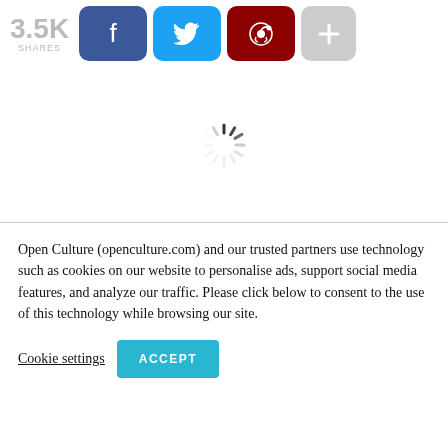[Figure (infographic): Social share bar showing 3.5K shares with Facebook, Twitter, Reddit, and plus buttons]
[Figure (other): Loading spinner (animated circular spinner icon)]
Open Culture (openculture.com) and our trusted partners use technology such as cookies on our website to personalise ads, support social media features, and analyze our traffic. Please click below to consent to the use of this technology while browsing our site.
Cookie settings   ACCEPT